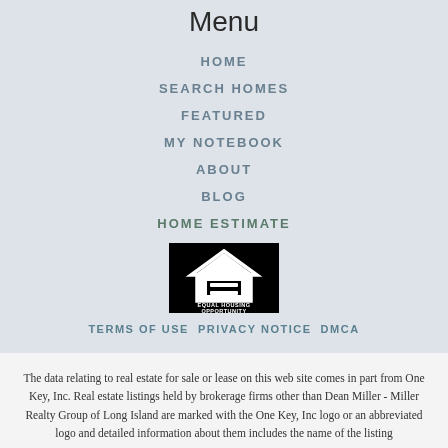Menu
HOME
SEARCH HOMES
FEATURED
MY NOTEBOOK
ABOUT
BLOG
HOME ESTIMATE
[Figure (logo): Equal Housing Opportunity logo — white house icon with an equals sign, on a black background, with text EQUAL HOUSING OPPORTUNITY below]
TERMS OF USE  PRIVACY NOTICE  DMCA
The data relating to real estate for sale or lease on this web site comes in part from One Key, Inc. Real estate listings held by brokerage firms other than Dean Miller - Miller Realty Group of Long Island are marked with the One Key, Inc logo or an abbreviated logo and detailed information about them includes the name of the listing